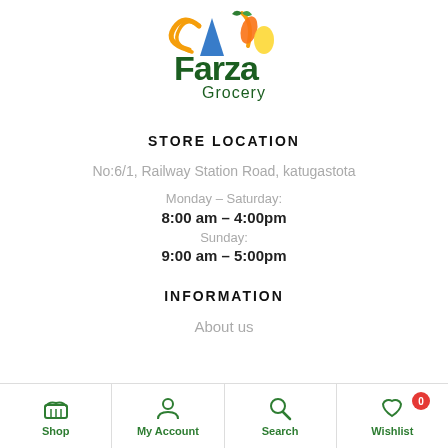[Figure (logo): Farza Grocery logo with colorful vegetables and stylized text]
STORE LOCATION
No:6/1, Railway Station Road, katugastota
Monday – Saturday:
8:00 am – 4:00pm
Sunday:
9:00 am – 5:00pm
INFORMATION
About us
Shop | My Account | Search | Wishlist